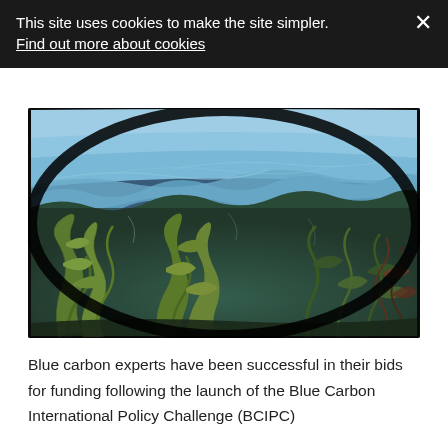This site uses cookies to make the site simpler. Find out more about cookies
[Figure (photo): Split underwater/above-water photograph showing ocean waves above and dense seaweed/kelp below the water surface, taken with a fisheye lens effect]
Blue carbon experts have been successful in their bids for funding following the launch of the Blue Carbon International Policy Challenge (BCIPC)